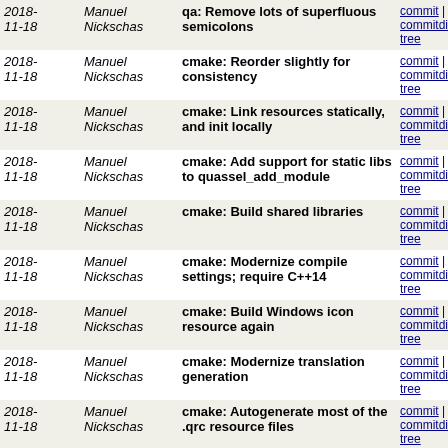| Date | Author | Message | Links |
| --- | --- | --- | --- |
| 2018-11-18 | Manuel Nickschas | qa: Remove lots of superfluous semicolons | commit | commitdiff | tree |
| 2018-11-18 | Manuel Nickschas | cmake: Reorder slightly for consistency | commit | commitdiff | tree |
| 2018-11-18 | Manuel Nickschas | cmake: Link resources statically, and init locally | commit | commitdiff | tree |
| 2018-11-18 | Manuel Nickschas | cmake: Add support for static libs to quassel_add_module | commit | commitdiff | tree |
| 2018-11-18 | Manuel Nickschas | cmake: Build shared libraries | commit | commitdiff | tree |
| 2018-11-18 | Manuel Nickschas | cmake: Modernize compile settings; require C++14 | commit | commitdiff | tree |
| 2018-11-18 | Manuel Nickschas | cmake: Build Windows icon resource again | commit | commitdiff | tree |
| 2018-11-18 | Manuel Nickschas | cmake: Modernize translation generation | commit | commitdiff | tree |
| 2018-11-18 | Manuel Nickschas | cmake: Autogenerate most of the .qrc resource files | commit | commitdiff | tree |
| 2018-11-18 | Manuel Nickschas | cmake: Add support for generating .qrc files | commit | commitdiff | tree |
| 2018-11-18 | Manuel Nickschas | cmake: Fix source-specific compile definitions | commit | commitdiff | tree |
| 2018-11-18 | Manuel Nickschas | cmake: Modernize cmake support for LDAP | commit | commitdiff | tree |
| 2018-11-18 | Manuel Nickschas | cmake: Reorganize package finding | commit | commitdiff | tree |
| 2018-11-18 | Manuel | cmake: Remove some compiler | commit | commitdiff | tree |